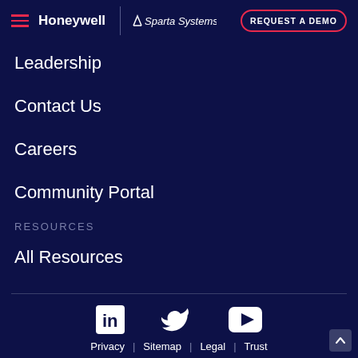Honeywell | Sparta Systems — REQUEST A DEMO
Leadership
Contact Us
Careers
Community Portal
RESOURCES
All Resources
Privacy | Sitemap | Legal | Trust